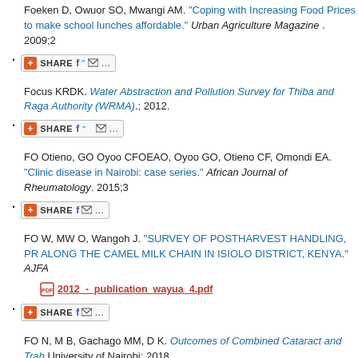Foeken D, Owuor SO, Mwangi AM. "Coping with Increasing Food Prices to make school lunches affordable." Urban Agriculture Magazine . 2009;2
[SHARE button]
Focus KRDK. Water Abstraction and Pollution Survey for Thiba and Raga Authority (WRMA).; 2012.
[SHARE button]
FO Otieno, GO Oyoo CFOEAO, Oyoo GO, Otieno CF, Omondi EA. "Clinic disease in Nairobi: case series." African Journal of Rheumatology. 2015;3
[SHARE button]
FO W, MW O, Wangoh J. "SURVEY OF POSTHARVEST HANDLING, PR ALONG THE CAMEL MILK CHAIN IN ISIOLO DISTRICT, KENYA." AJFA
2012_-_publication_wayua_4.pdf
[SHARE button]
FO N, M B, Gachago MM, D K. Outcomes of Combined Cataract and Trab University of Nairobi; 2018.
[SHARE button]